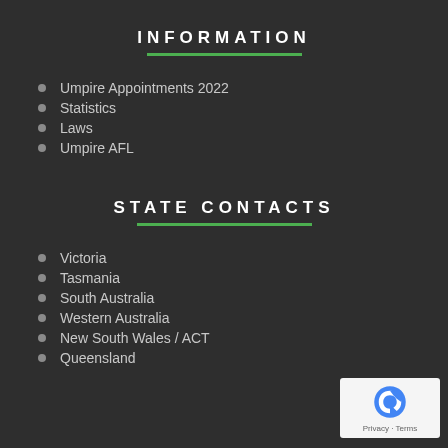INFORMATION
Umpire Appointments 2022
Statistics
Laws
Umpire AFL
STATE CONTACTS
Victoria
Tasmania
South Australia
Western Australia
New South Wales / ACT
Queensland